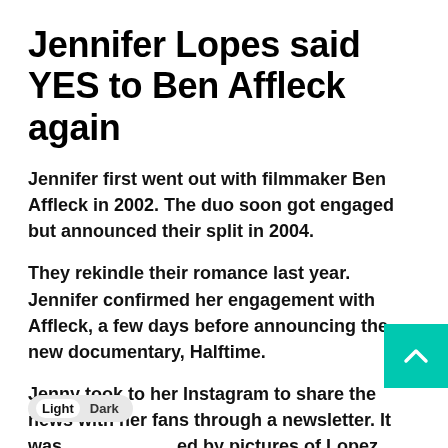Jennifer Lopes said YES to Ben Affleck again
Jennifer first went out with filmmaker Ben Affleck in 2002. The duo soon got engaged but announced their split in 2004.
They rekindle their romance last year. Jennifer confirmed her engagement with Affleck, a few days before announcing the new documentary, Halftime.
Jenny took to her Instagram to share the news with her fans through a newsletter. It was accompanied by pictures of Lopez flaunting green diamond ring.